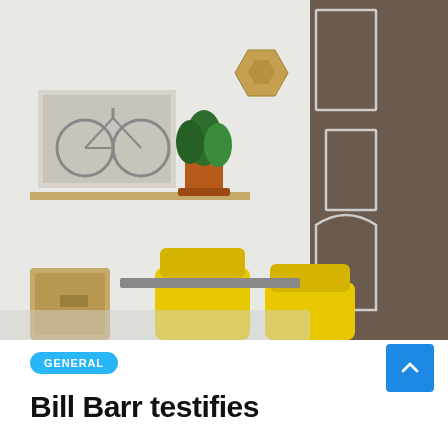[Figure (photo): Interior room photo showing a person with headphones sitting and reading a book, wearing a black polka-dot shirt. Two yellow chairs are in the foreground. A shelf with a plant and framed bicycle art is visible on the left. A dark textured wall with chalk-drawn door outlines is on the right. A wooden storage box is in the lower left corner.]
GENERAL
Bill Barr testifies